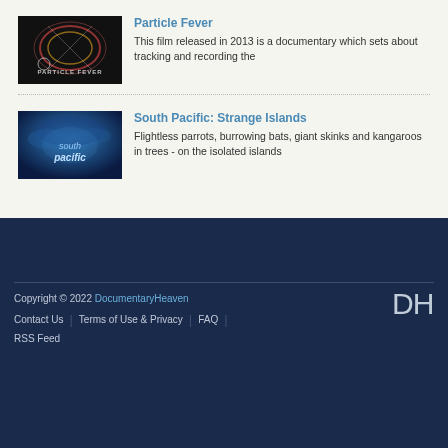[Figure (photo): Particle Fever movie thumbnail - circular light streaks on dark background with text 'PARTICLE FEVER']
Particle Fever
This film released in 2013 is a documentary which sets about tracking and recording the
[Figure (photo): South Pacific TV series thumbnail - blue glowing ocean/sky background with text 'south pacific']
South Pacific: Strange Islands
Flightless parrots, burrowing bats, giant skinks and kangaroos in trees - on the isolated islands
Copyright © 2022 DocumentaryHeaven  Contact Us  Terms of Use & Privacy  FAQ  RSS Feed